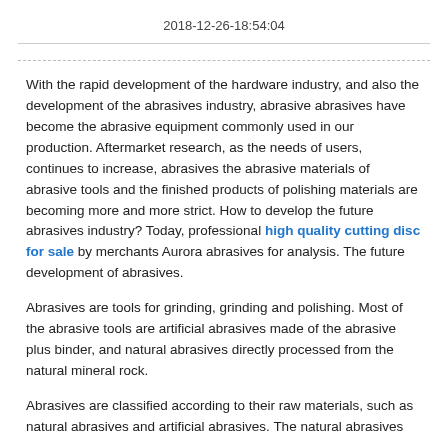2018-12-26-18:54:04
With the rapid development of the hardware industry, and also the development of the abrasives industry, abrasive abrasives have become the abrasive equipment commonly used in our production. Aftermarket research, as the needs of users, continues to increase, abrasives the abrasive materials of abrasive tools and the finished products of polishing materials are becoming more and more strict. How to develop the future abrasives industry? Today, professional high quality cutting disc for sale by merchants Aurora abrasives for analysis. The future development of abrasives.
Abrasives are tools for grinding, grinding and polishing. Most of the abrasive tools are artificial abrasives made of the abrasive plus binder, and natural abrasives directly processed from the natural mineral rock.
Abrasives are classified according to their raw materials, such as natural abrasives and artificial abrasives. The natural abrasives